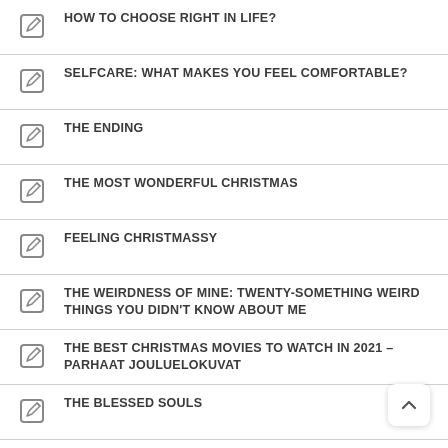HOW TO CHOOSE RIGHT IN LIFE?
SELFCARE: WHAT MAKES YOU FEEL COMFORTABLE?
THE ENDING
THE MOST WONDERFUL CHRISTMAS
FEELING CHRISTMASSY
THE WEIRDNESS OF MINE: TWENTY-SOMETHING WEIRD THINGS YOU DIDN'T KNOW ABOUT ME
THE BEST CHRISTMAS MOVIES TO WATCH IN 2021 – PARHAAT JOULUELOKUVAT
THE BLESSED SOULS